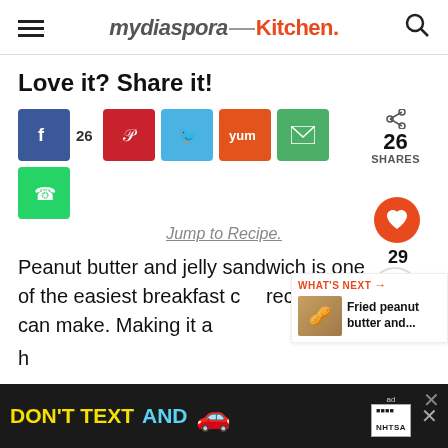mydiasporaKitchen.
Love it? Share it!
26 SHARES
Jump to Recipe.
Peanut butter and jelly sandwich is one of the easiest breakfast c... recipe you can make. Making it a h...
WHAT'S NEXT → Fried peanut butter and...
DON'T TEXT AND [car emoji] ad NHTSA